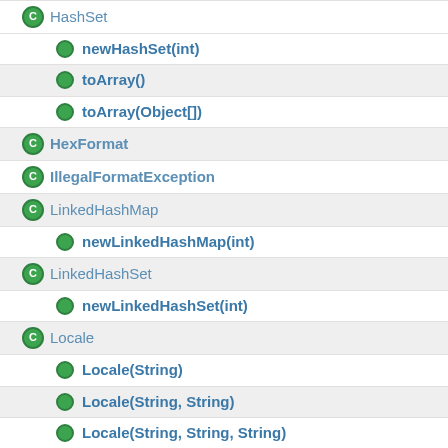HashSet
newHashSet(int)
toArray()
toArray(Object[])
HexFormat
IllegalFormatException
LinkedHashMap
newLinkedHashMap(int)
LinkedHashSet
newLinkedHashSet(int)
Locale
Locale(String)
Locale(String, String)
Locale(String, String, String)
of(String)
of(String, String)
of(String, String, String)
NoSuchElementException
NoSuchElementException(String, Throwable)
NoSuchElementException(Throwable)
Objects